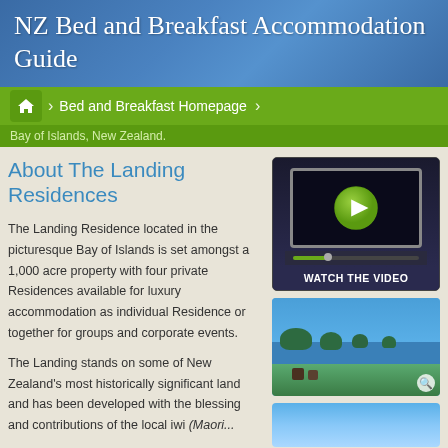NZ Bed and Breakfast Accommodation Guide
Bed and Breakfast Homepage
Bay of Islands, New Zealand.
About The Landing Residences
[Figure (screenshot): Video player with play button and WATCH THE VIDEO label]
The Landing Residence located in the picturesque Bay of Islands is set amongst a 1,000 acre property with four private Residences available for luxury accommodation as individual Residence or together for groups and corporate events.
[Figure (photo): Aerial photo of Bay of Islands, New Zealand showing islands and water]
The Landing stands on some of New Zealand's most historically significant land and has been developed with the blessing and contributions of the local iwi (Maori...
[Figure (photo): Photo of blue sky over water]